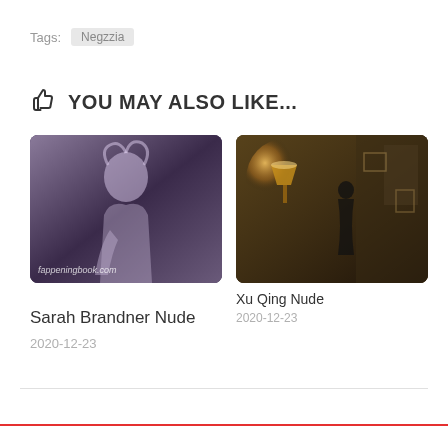Tags: Negzzia
YOU MAY ALSO LIKE...
[Figure (photo): Photo of a woman with light hair wearing a white outfit, with fappeningbook.com watermark]
Sarah Brandner Nude
2020-12-23
[Figure (photo): Dark room scene with a silhouette of a person near a lit lamp]
Xu Qing Nude
2020-12-23